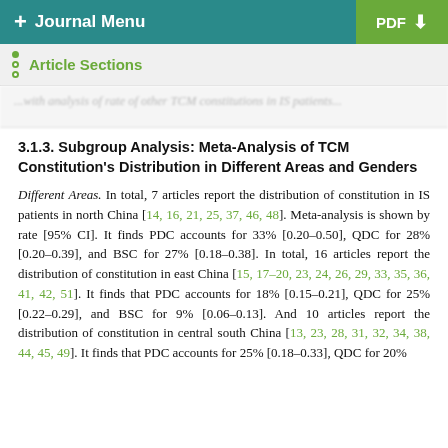+ Journal Menu   PDF ↓
Article Sections
... with analysis of rate of other TCM constitutions in IS patients...
3.1.3. Subgroup Analysis: Meta-Analysis of TCM Constitution's Distribution in Different Areas and Genders
Different Areas. In total, 7 articles report the distribution of constitution in IS patients in north China [14, 16, 21, 25, 37, 46, 48]. Meta-analysis is shown by rate [95% CI]. It finds PDC accounts for 33% [0.20–0.50], QDC for 28% [0.20–0.39], and BSC for 27% [0.18–0.38]. In total, 16 articles report the distribution of constitution in east China [15, 17–20, 23, 24, 26, 29, 33, 35, 36, 41, 42, 51]. It finds that PDC accounts for 18% [0.15–0.21], QDC for 25% [0.22–0.29], and BSC for 9% [0.06–0.13]. And 10 articles report the distribution of constitution in central south China [13, 23, 28, 31, 32, 34, 38, 44, 45, 49]. It finds that PDC accounts for 25% [0.18–0.33], QDC for 20%